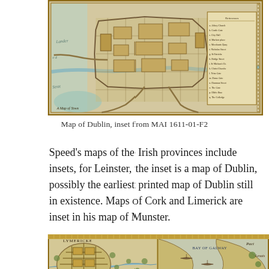[Figure (map): Historical engraved map of Dublin city, showing streets, buildings, walls and a legend. Inset map from MAI 1611-01-F2.]
Map of Dublin, inset from MAI 1611-01-F2
Speed’s maps of the Irish provinces include insets, for Leinster, the inset is a map of Dublin, possibly the earliest printed map of Dublin still in existence. Maps of Cork and Limerick are inset in his map of Munster.
[Figure (map): Historical engraved map showing Limerick and the Bay of Galway region, partially visible at bottom of page.]